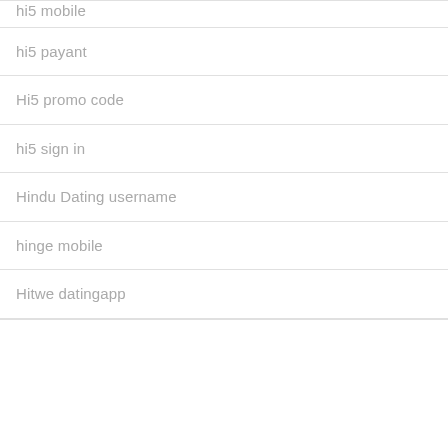hi5 mobile
hi5 payant
Hi5 promo code
hi5 sign in
Hindu Dating username
hinge mobile
Hitwe datingapp